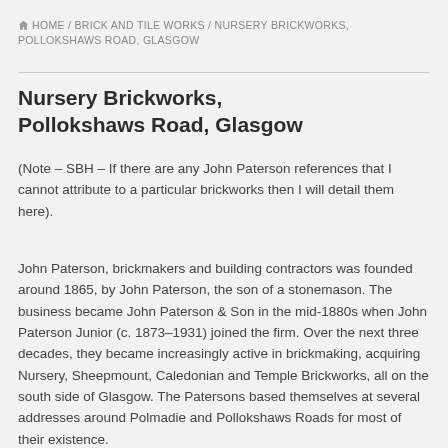HOME / BRICK AND TILE WORKS / NURSERY BRICKWORKS, POLLOKSHAWS ROAD, GLASGOW
Nursery Brickworks, Pollokshaws Road, Glasgow
(Note – SBH – If there are any John Paterson references that I cannot attribute to a particular brickworks then I will detail them here).
John Paterson, brickmakers and building contractors was founded around 1865, by John Paterson, the son of a stonemason. The business became John Paterson & Son in the mid-1880s when John Paterson Junior (c. 1873–1931) joined the firm. Over the next three decades, they became increasingly active in brickmaking, acquiring Nursery, Sheepmount, Caledonian and Temple Brickworks, all on the south side of Glasgow. The Patersons based themselves at several addresses around Polmadie and Pollokshaws Roads for most of their existence.